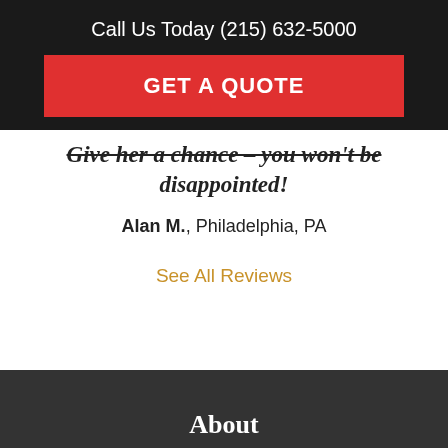Call Us Today (215) 632-5000
GET A QUOTE
Give her a chance – you won't be disappointed!
Alan M., Philadelphia, PA
See All Reviews
About